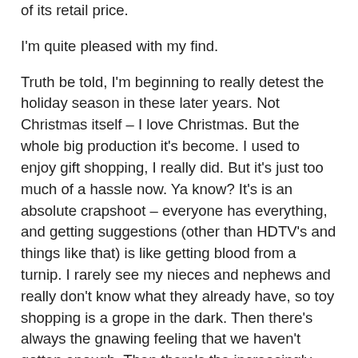of its retail price.
I'm quite pleased with my find.
Truth be told, I'm beginning to really detest the holiday season in these later years. Not Christmas itself – I love Christmas. But the whole big production it's become. I used to enjoy gift shopping, I really did. But it's just too much of a hassle now. Ya know? It's is an absolute crapshoot – everyone has everything, and getting suggestions (other than HDTV's and things like that) is like getting blood from a turnip. I rarely see my nieces and nephews and really don't know what they already have, so toy shopping is a grope in the dark. Then there's always the gnawing feeling that we haven't gotten enough. Then there's the increasingly impossible task of finding something for everyone else that reflects a remote air of thoughtfulness on your part (I've never cared for taking the route of generic gifts - I always try to find something special. A huge contributor to my stress level, but it's all part of my OCD. I can't help it.)
My family discontinued gift exchanging amongst adults many